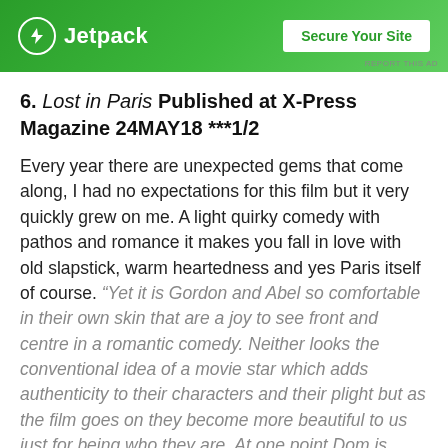[Figure (screenshot): Jetpack advertisement banner with green background, Jetpack logo on left and 'Secure Your Site' button on right. Small 'REPORT THIS AD' text at bottom right.]
6. Lost in Paris Published at X-Press Magazine 24MAY18 ***1/2
Every year there are unexpected gems that come along, I had no expectations for this film but it very quickly grew on me. A light quirky comedy with pathos and romance it makes you fall in love with old slapstick, warm heartedness and yes Paris itself of course. “Yet it is Gordon and Abel so comfortable in their own skin that are a joy to see front and centre in a romantic comedy. Neither looks the conventional idea of a movie star which adds authenticity to their characters and their plight but as the film goes on they become more beautiful to us just for being who they are. At one point Dom is asked “Where is the handsome man?” by Fiona who he is falling in love